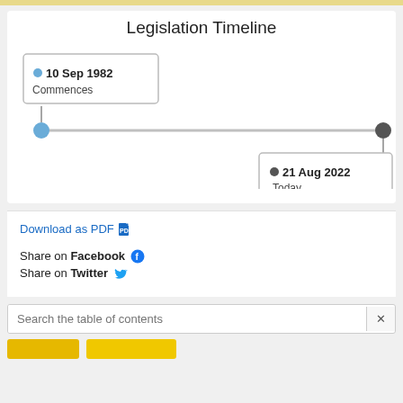Legislation Timeline
[Figure (other): A horizontal timeline showing two points: '10 Sep 1982 - Commences' on the left (blue dot) and '21 Aug 2022 - Today' on the right (dark dot), connected by a horizontal gray line.]
Download as PDF
Share on Facebook
Share on Twitter
Search the table of contents